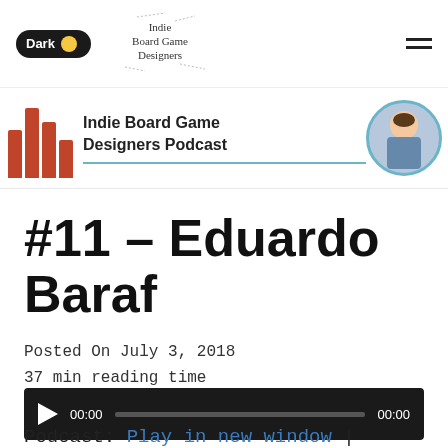Dark | Indie Board Game Designers
[Figure (illustration): Indie Board Game Designers Podcast banner with red bar chart logo and circular avatar of a person]
#11 – Eduardo Baraf
Posted On July 3, 2018
37 min reading time
[Figure (other): Audio player bar showing 00:00 elapsed and 00:00 total with play button and progress bar]
Podcast: Play in new window |